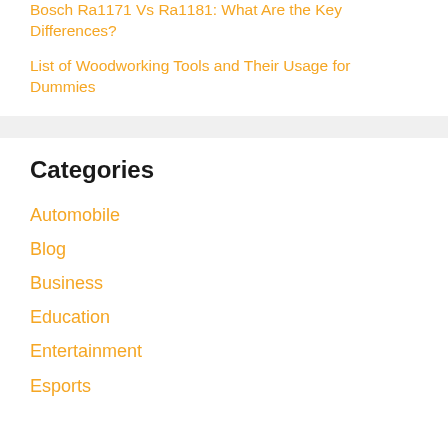Bosch Ra1171 Vs Ra1181: What Are the Key Differences?
List of Woodworking Tools and Their Usage for Dummies
Categories
Automobile
Blog
Business
Education
Entertainment
Esports